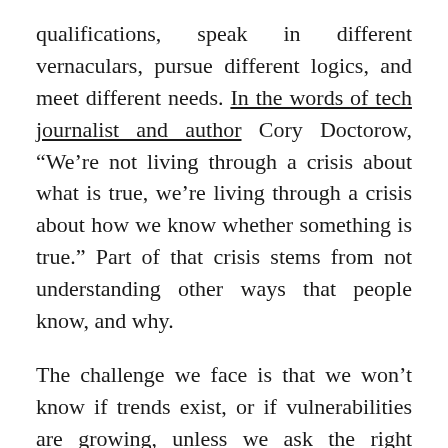qualifications, speak in different vernaculars, pursue different logics, and meet different needs. In the words of tech journalist and author Cory Doctorow, “We’re not living through a crisis about what is true, we’re living through a crisis about how we know whether something is true.” Part of that crisis stems from not understanding other ways that people know, and why.
The challenge we face is that we won’t know if trends exist, or if vulnerabilities are growing, unless we ask the right questions. What are the different ways people seek knowledge online? What assumptions underpin them? How are they changing? Are they being manipulated?